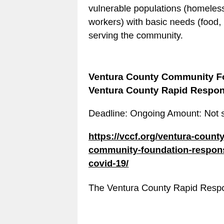vulnerable populations (homeless, food-insecure, low-income residents, and farm workers) with basic needs (food, shelter, transportation, etc.) and have a broad reach in serving the community.
Ventura County Community Foundation: Ventura County Rapid Response
Deadline: Ongoing Amount: Not specified
https://vccf.org/ventura-county-community-foundation-response-to-covid-19/
The Ventura County Rapid Response Fund will support nonprofit organizations